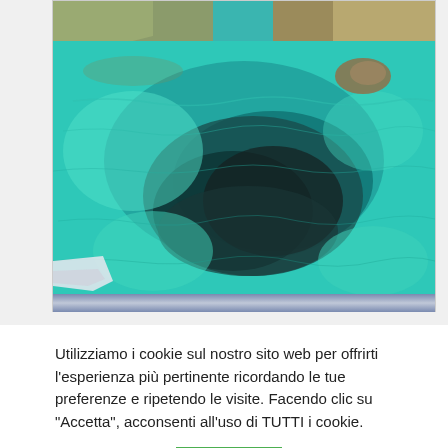[Figure (photo): Aerial or boat-level photo of clear turquoise/teal ocean water with rocky coastline and coral/rock formations visible beneath the surface. Rocky cliffs visible in the background. A partial view of a white boat/kayak visible at the lower left.]
Utilizziamo i cookie sul nostro sito web per offrirti l'esperienza più pertinente ricordando le tue preferenze e ripetendo le visite. Facendo clic su "Accetta", acconsenti all'uso di TUTTI i cookie.
Cookie setting
Accetta